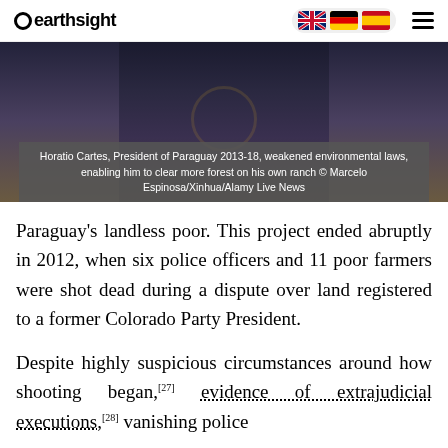earthsight
[Figure (photo): Photo of Horatio Cartes speaking at a podium with a golden seal. Caption overlay reads: Horatio Cartes, President of Paraguay 2013-18, weakened environmental laws, enabling him to clear more forest on his own ranch © Marcelo Espinosa/Xinhua/Alamy Live News]
Horatio Cartes, President of Paraguay 2013-18, weakened environmental laws, enabling him to clear more forest on his own ranch © Marcelo Espinosa/Xinhua/Alamy Live News
Paraguay's landless poor. This project ended abruptly in 2012, when six police officers and 11 poor farmers were shot dead during a dispute over land registered to a former Colorado Party President.
Despite highly suspicious circumstances around how shooting began,[27] evidence of extrajudicial executions,[28] vanishing police